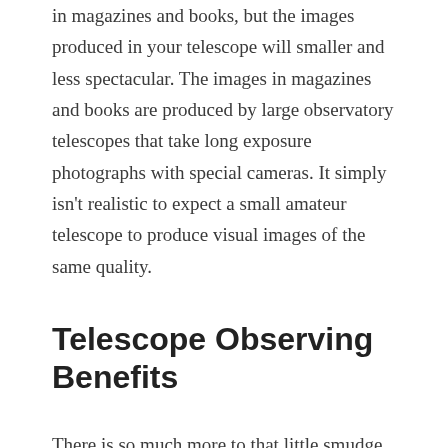in magazines and books, but the images produced in your telescope will smaller and less spectacular. The images in magazines and books are produced by large observatory telescopes that take long exposure photographs with special cameras. It simply isn't realistic to expect a small amateur telescope to produce visual images of the same quality.
Telescope Observing Benefits
There is so much more to that little smudge of light you see in your eyepiece than meets the eye! Spend a little time and effort to learn about the things you see in your telescope and you will appreciate them much more. Remember, that little smudge of light may actually contain billions of stars and its light may have taken many millions of years to reach your telescope.